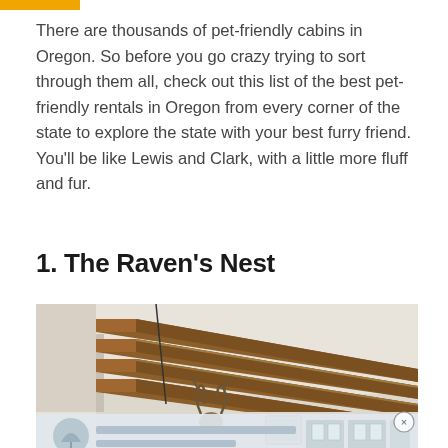There are thousands of pet-friendly cabins in Oregon. So before you go crazy trying to sort through them all, check out this list of the best pet-friendly rentals in Oregon from every corner of the state to explore the state with your best furry friend. You'll be like Lewis and Clark, with a little more fluff and fur.
1. The Raven's Nest
[Figure (photo): Interior photo of a cabin showing exposed wooden ceiling beams in a warm brown tone against a light ceiling, with a taxidermy animal head on the wall and a framed picture. Lower portion shows an advertisement overlay with a close (×) button.]